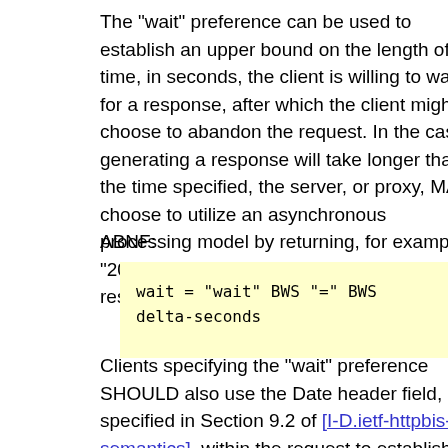The "wait" preference can be used to establish an upper bound on the length of time, in seconds, the client is willing to wait for a response, after which the client might choose to abandon the request. In the case generating a response will take longer than the time specified, the server, or proxy, MAY choose to utilize an asynchronous processing model by returning, for example, "202 Accepted" or "303 See Other" responses.
ABNF:
Clients specifying the "wait" preference SHOULD also use the Date header field, as specified in Section 9.2 of [I-D.ietf-httpbis-p2-semantics], within the request to establish the time at which the client began waiting for the completion of the request. Failing to include a Date header field in the request could leave the...